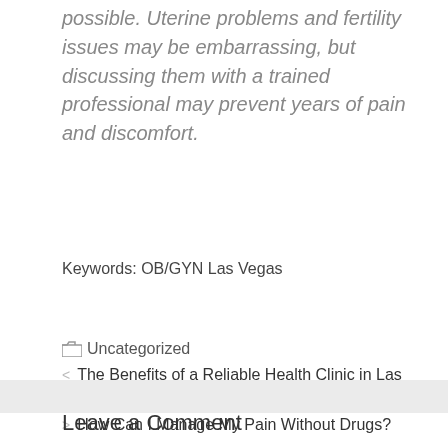possible. Uterine problems and fertility issues may be embarrassing, but discussing them with a trained professional may prevent years of pain and discomfort.
Keywords: OB/GYN Las Vegas
Uncategorized
The Benefits of a Reliable Health Clinic in Las Vegas
How Can I Manage My Pain Without Drugs?
Leave a Comment